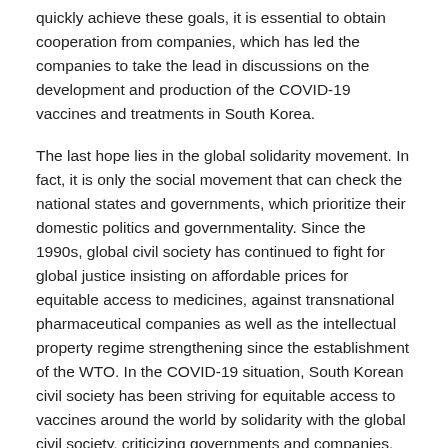quickly achieve these goals, it is essential to obtain cooperation from companies, which has led the companies to take the lead in discussions on the development and production of the COVID-19 vaccines and treatments in South Korea.
The last hope lies in the global solidarity movement. In fact, it is only the social movement that can check the national states and governments, which prioritize their domestic politics and governmentality. Since the 1990s, global civil society has continued to fight for global justice insisting on affordable prices for equitable access to medicines, against transnational pharmaceutical companies as well as the intellectual property regime strengthening since the establishment of the WTO. In the COVID-19 situation, South Korean civil society has been striving for equitable access to vaccines around the world by solidarity with the global civil society, criticizing governments and companies.
As of the end of September 2021, the exemption from intellectual property rights through WTO/TRIPs (TRIPs waiver) is the top priority campaign agenda for civil society around the world. The adoption of the TRIPs waiver proposal could be the beginning of just global